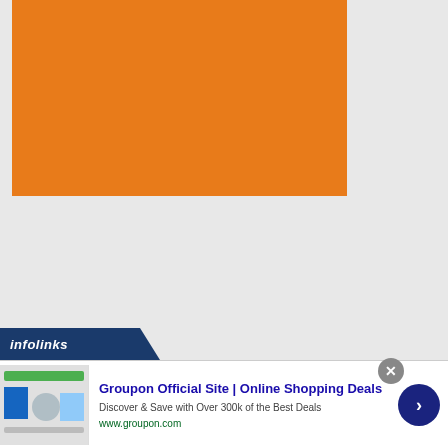[Figure (illustration): Large solid orange rectangle filling upper-left area of the page against a light gray background]
[Figure (infographic): Infolinks banner/tab in dark navy blue with white italic text reading 'infolinks', styled with angled right edge]
[Figure (screenshot): Online advertisement for Groupon Official Site showing thumbnail images of deals, title text, description text, green URL, close button, and dark blue arrow navigation button]